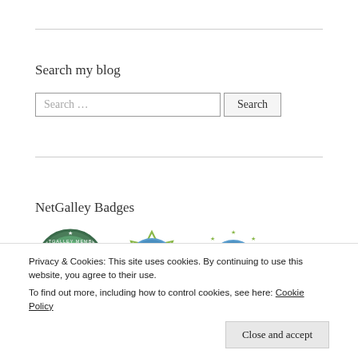Search my blog
Search …
NetGalley Badges
[Figure (illustration): Three NetGalley badge icons: NetGalley Member Professional Reader badge (green circular), 50 Reviews badge (blue/green circular), and a reviewer badge (blue circle with stars)]
Privacy & Cookies: This site uses cookies. By continuing to use this website, you agree to their use.
To find out more, including how to control cookies, see here: Cookie Policy
Close and accept